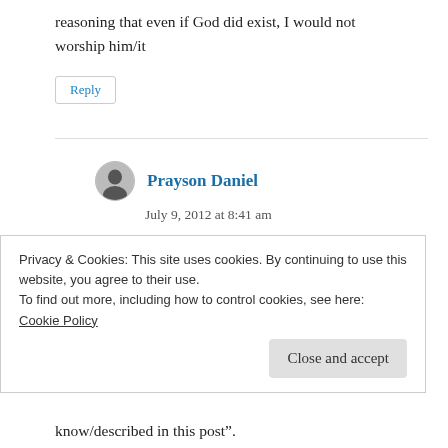reasoning that even if God did exist, I would not worship him/it
Reply
Prayson Daniel
July 9, 2012 at 8:41 am
If the god you describe Robert in this post existed I would not worship it/him neither
Privacy & Cookies: This site uses cookies. By continuing to use this website, you agree to their use.
To find out more, including how to control cookies, see here: Cookie Policy
Close and accept
know/described in this post".